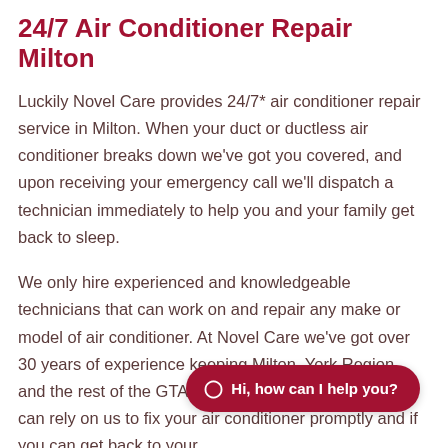24/7 Air Conditioner Repair Milton
Luckily Novel Care provides 24/7* air conditioner repair service in Milton. When your duct or ductless air conditioner breaks down we've got you covered, and upon receiving your emergency call we'll dispatch a technician immediately to help you and your family get back to sleep.
We only hire experienced and knowledgeable technicians that can work on and repair any make or model of air conditioner. At Novel Care we've got over 30 years of experience keeping Milton, York Region, and the rest of the GTA cool during the summer. You can rely on us to fix your air conditioner pr... you can get back to your...